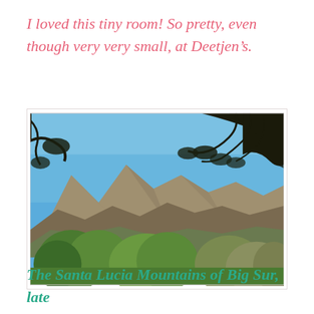I loved this tiny room! So pretty, even though very very small, at Deetjen's.
[Figure (photo): Photograph of the Santa Lucia Mountains in Big Sur, showing a bright blue sky, rugged mountain peaks, dark tree branches in the upper portion, and green trees in the foreground.]
The Santa Lucia Mountains of Big Sur, late